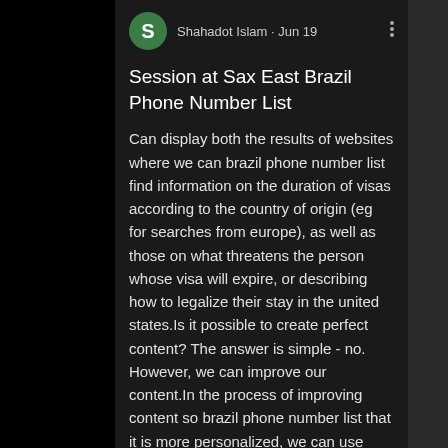Shahadot Islam · Jun 19
Session at Sax East Brazil Phone Number List
Can display both the results of websites where we can brazil phone number list find information on the duration of visas according to the country of origin (eg for searches from europe), as well as those on what threatens the person whose visa will expire, or describing how to legalize their stay in the united states.Is it possible to create perfect content? The answer is simple - no. However, we can improve our content.In the process of improving content so brazil phone number list that it is more personalized, we can use tools such as ahrefs (to create content inspirations based on competition analysis), semstorm (to create and test queries to long tail.